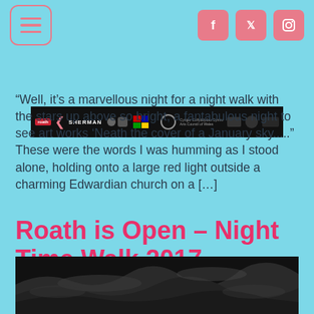[Figure (screenshot): Navigation header with hamburger menu button on the left and three social media icons (Facebook, Twitter, Instagram) in salmon/pink color on the right, on a light blue background]
[Figure (logo): Black banner with Roath and Sherman Theatre logos plus various sponsor/partner logos]
“Well, it’s a marvellous night for a night walk with the stars up above so bright, a fantabulous night to see art works ‘Neath the cover of a January sky.....” These were the words I was humming as I stood alone, holding onto a large red light outside a charming Edwardian church on a […]
Roath is Open – Night Time Walk 2017
[Figure (photo): Dark photo of a night sky with clouds, partially lit, appearing at the bottom of the page]